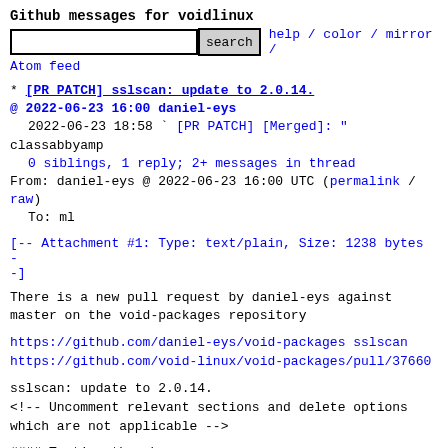Github messages for voidlinux
search  help / color / mirror /
Atom feed
* [PR PATCH] sslscan: update to 2.0.14.
@ 2022-06-23 16:00 daniel-eys
  2022-06-23 18:58 ` [PR PATCH] [Merged]: "
classabbyamp
  0 siblings, 1 reply; 2+ messages in thread
From: daniel-eys @ 2022-06-23 16:00 UTC (permalink /
raw)
    To: ml
[-- Attachment #1: Type: text/plain, Size: 1238 bytes --]
There is a new pull request by daniel-eys against
master on the void-packages repository
https://github.com/daniel-eys/void-packages sslscan
https://github.com/void-linux/void-packages/pull/37660
sslscan: update to 2.0.14.
<!-- Uncomment relevant sections and delete options
which are not applicable -->

#### Testing the changes
- I tested the changes in this PR: **YES**